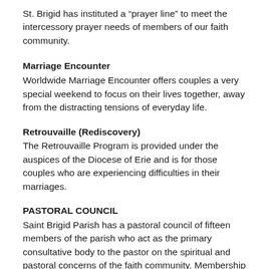St. Brigid has instituted a “prayer line” to meet the intercessory prayer needs of members of our faith community.
Marriage Encounter
Worldwide Marriage Encounter offers couples a very special weekend to focus on their lives together, away from the distracting tensions of everyday life.
Retrouvaille (Rediscovery)
The Retrouvaille Program is provided under the auspices of the Diocese of Erie and is for those couples who are experiencing difficulties in their marriages.
PASTORAL COUNCIL
Saint Brigid Parish has a pastoral council of fifteen members of the parish who act as the primary consultative body to the pastor on the spiritual and pastoral concerns of the faith community. Membership is by election by the parish community, held triennially (July, 2009).
President: Barbara Chandler